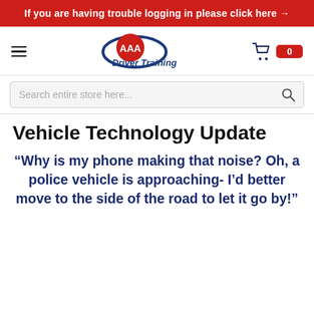If you are having trouble logging in please click here →
[Figure (logo): AAA Driver Training logo with red AAA shield emblem and blue orbit ring, with 'Driver Training' text in blue italic]
Search entire store here...
Vehicle Technology Update
“Why is my phone making that noise? Oh, a police vehicle is approaching- I’d better move to the side of the road to let it go by!”